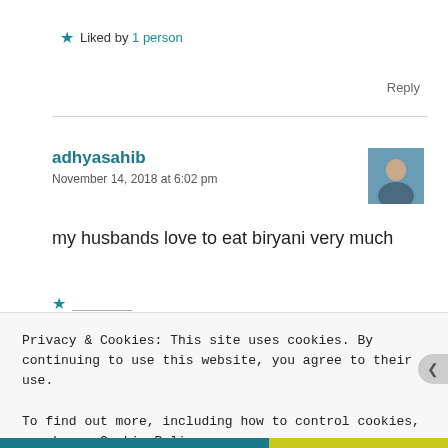★ Liked by 1 person
Reply
adhyasahib
November 14, 2018 at 6:02 pm
[Figure (photo): Small avatar/profile photo of a person]
my husbands love to eat biryani very much
Privacy & Cookies: This site uses cookies. By continuing to use this website, you agree to their use.
To find out more, including how to control cookies, see here: Cookie Policy
Close and accept